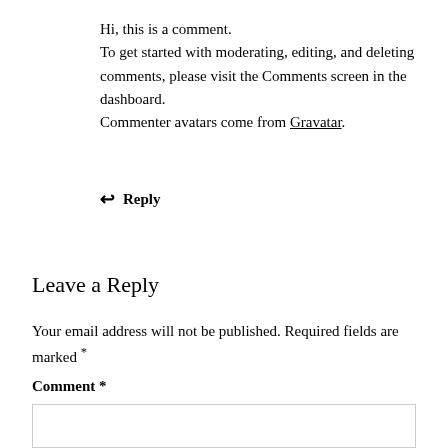Hi, this is a comment.
To get started with moderating, editing, and deleting comments, please visit the Comments screen in the dashboard.
Commenter avatars come from Gravatar.
↩ Reply
Leave a Reply
Your email address will not be published. Required fields are marked *
Comment *